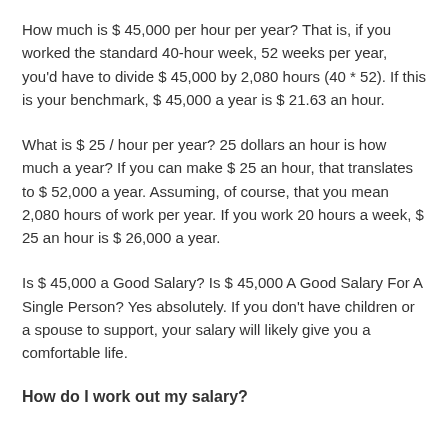How much is $ 45,000 per hour per year? That is, if you worked the standard 40-hour week, 52 weeks per year, you'd have to divide $ 45,000 by 2,080 hours (40 * 52). If this is your benchmark, $ 45,000 a year is $ 21.63 an hour.
What is $ 25 / hour per year? 25 dollars an hour is how much a year? If you can make $ 25 an hour, that translates to $ 52,000 a year. Assuming, of course, that you mean 2,080 hours of work per year. If you work 20 hours a week, $ 25 an hour is $ 26,000 a year.
Is $ 45,000 a Good Salary? Is $ 45,000 A Good Salary For A Single Person? Yes absolutely. If you don't have children or a spouse to support, your salary will likely give you a comfortable life.
How do I work out my salary?